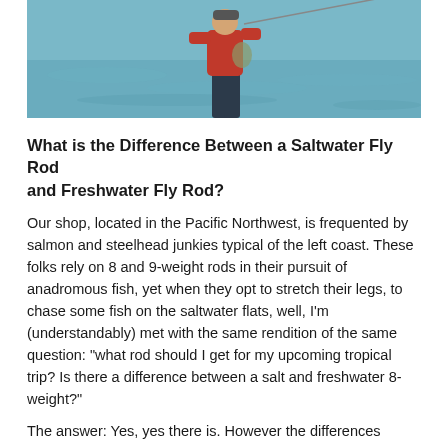[Figure (photo): A person wearing a red jacket and waders standing knee-deep in blue-green water, fly fishing in what appears to be saltwater or a large river.]
What is the Difference Between a Saltwater Fly Rod and Freshwater Fly Rod?
Our shop, located in the Pacific Northwest, is frequented by salmon and steelhead junkies typical of the left coast. These folks rely on 8 and 9-weight rods in their pursuit of anadromous fish, yet when they opt to stretch their legs, to chase some fish on the saltwater flats, well, I'm (understandably) met with the same rendition of the same question: "what rod should I get for my upcoming tropical trip? Is there a difference between a salt and freshwater 8-weight?"
The answer: Yes, yes there is. However the differences